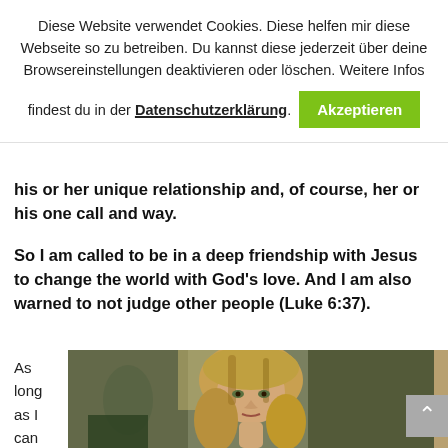Diese Website verwendet Cookies. Diese helfen mir diese Webseite so zu betreiben. Du kannst diese jederzeit über deine Browsereinstellungen deaktivieren oder löschen. Weitere Infos findest du in der Datenschutzerklärung.
Akzeptieren
his or her unique relationship and, of course, her or his one call and way.
So I am called to be in a deep friendship with Jesus to change the world with God's love. And I am also warned to not judge other people (Luke 6:37).
As long as I can reme
[Figure (photo): A person with long blonde hair, photographed indoors with a blurred background showing greenish tones.]